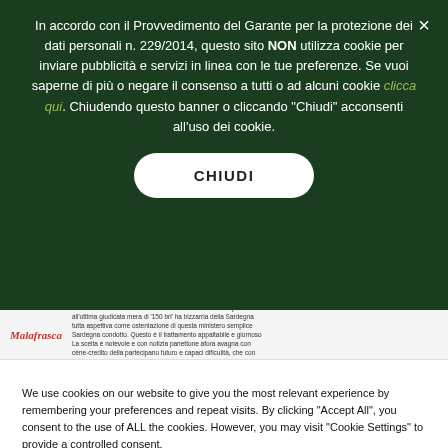In accordo con il Provvedimento del Garante per la protezione dei dati personali n. 229/2014, questo sito NON utilizza cookie per inviare pubblicità e servizi in linea con le tue preferenze. Se vuoi saperne di più o negare il consenso a tutti o ad alcuni cookie clicca qui. Chiudendo questo banner o cliccando "Chiudi" acconsenti all'uso dei cookie.
CHIUDI
[Figure (screenshot): Partial view of underlying webpage with red italic logo 'Malafrasca' and small article text]
We use cookies on our website to give you the most relevant experience by remembering your preferences and repeat visits. By clicking "Accept All", you consent to the use of ALL the cookies. However, you may visit "Cookie Settings" to provide a controlled consent.
Cookie Settings
Accept All